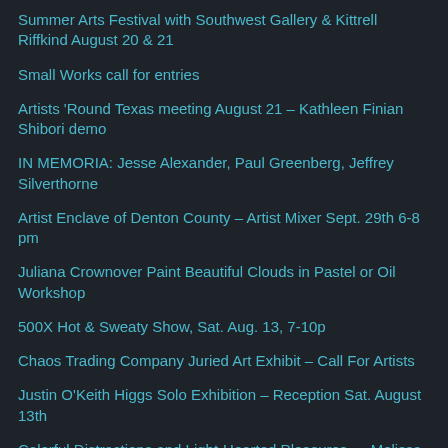Summer Arts Festival with Southwest Gallery & Kittrell Riffkind August 20 & 21
Small Works call for entries
Artists 'Round Texas meeting August 21 – Kathleen Finian Shibori demo
IN MEMORIA: Jesse Alexander, Paul Greenberg, Jeffrey Silverthorne
Artist Enclave of Denton County – Artist Mixer Sept. 29th 6-8 pm
Juliana Crownover Paint Beautiful Clouds in Pastel or Oil Workshop
500X Hot & Sweaty Show, Sat. Aug. 13, 7-10p
Chaos Trading Company Juried Art Exhibit – Call For Artists
Justin O'Keith Higgs Solo Exhibition – Reception Sat. August 13th
Colorful Distractions and Light-Hearted Pleasures — Melissa Patrello at The Cove